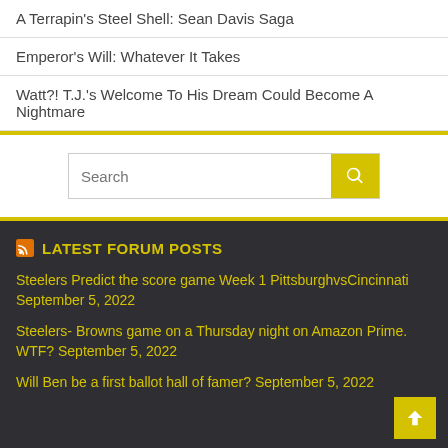A Terrapin’s Steel Shell: Sean Davis Saga
Emperor’s Will: Whatever It Takes
Watt?! T.J.’s Welcome To His Dream Could Become A Nightmare
LATEST FORUM POSTS
Steelers Predict the score game Week 1 PittsburghvsCincinnati September 5, 2022
Steelers- Browns game on a Thursday night on Amazon Prime. WTF? September 5, 2022
Will Ben be a first ballot hall of famer? September 5, 2022